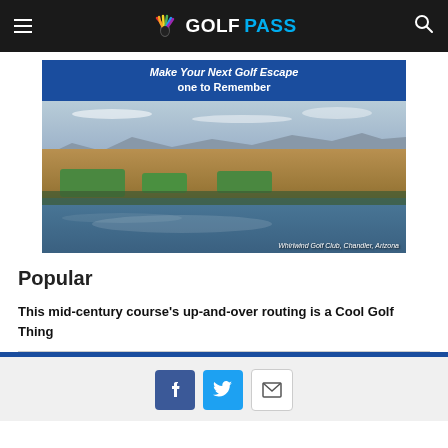NBC GOLFPASS
[Figure (photo): Advertisement banner for GolfPass showing aerial view of Whirlwind Golf Club, Chandler, Arizona with text 'Make Your Next Golf Escape one to Remember']
Whirlwind Golf Club, Chandler, Arizona
Popular
This mid-century course's up-and-over routing is a Cool Golf Thing
Social share buttons: Facebook, Twitter, Email